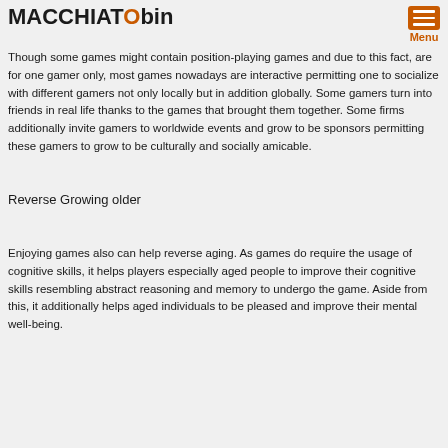MACCHIATObin
Though some games might contain position-playing games and due to this fact, are for one gamer only, most games nowadays are interactive permitting one to socialize with different gamers not only locally but in addition globally. Some gamers turn into friends in real life thanks to the games that brought them together. Some firms additionally invite gamers to worldwide events and grow to be sponsors permitting these gamers to grow to be culturally and socially amicable.
Reverse Growing older
Enjoying games also can help reverse aging. As games do require the usage of cognitive skills, it helps players especially aged people to improve their cognitive skills resembling abstract reasoning and memory to undergo the game. Aside from this, it additionally helps aged individuals to be pleased and improve their mental well-being.